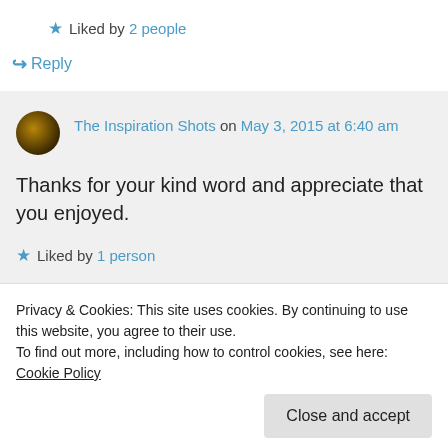★ Liked by 2 people
↪ Reply
The Inspiration Shots on May 3, 2015 at 6:40 am
Thanks for your kind word and appreciate that you enjoyed.
★ Liked by 1 person
Privacy & Cookies: This site uses cookies. By continuing to use this website, you agree to their use.
To find out more, including how to control cookies, see here: Cookie Policy
Close and accept
nicely atmosphere it has a wild fish or move